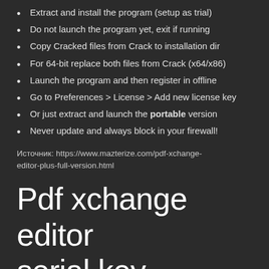Extract and install the program (setup as trial)
Do not launch the program yet, exit if running
Copy Cracked files from Crack to installation dir
For 64-bit replace both files from Crack (x64/x86)
Launch the program and then register in offline
Go to Preferences > License > Add new license key
Or just extract and launch the portable version
Never update and always block in your firewall!
Источник: https://www.mazterize.com/pdf-xchange-editor-plus-full-version.html
Pdf xchange editor serial key